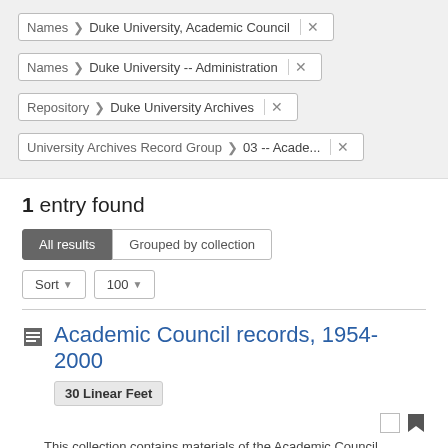Names > Duke University, Academic Council ×
Names > Duke University -- Administration ×
Repository > Duke University Archives ×
University Archives Record Group > 03 -- Acade... ×
1 entry found
All results | Grouped by collection
Sort ▾  100 ▾
Academic Council records, 1954-2000
30 Linear Feet
This collection contains materials of the Academic Council